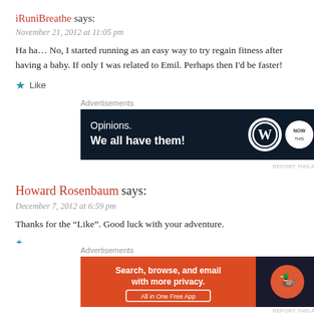iRuniBreathe says:
November 21, 2012 at 11:05 pm
Ha ha... No, I started running as an easy way to try regain fitness after having a baby. If only I was related to Emil. Perhaps then I'd be faster!
Like
[Figure (screenshot): Advertisement banner: dark navy background with text 'Opinions. We all have them!' and WordPress and NOW logos]
Howard Rosenbaum says:
December 7, 2012 at 6:59 pm
Thanks for the “Like”. Good luck with your adventure.
[Figure (screenshot): Advertisement banner: orange and dark background with DuckDuckGo ad 'Search, browse, and email with more privacy. All in One Free App']